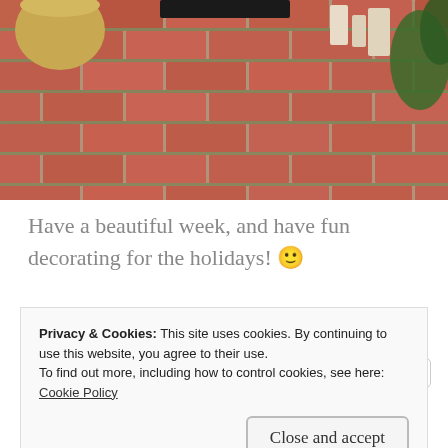[Figure (photo): Outdoor brick pathway/patio with red/terracotta bricks and moss between joints, with a large pot, doormat, candles and greenery visible]
Have a beautiful week, and have fun decorating for the holidays! 🙂
SHARE THIS:
Facebook  Pinterest 8  Email  Twitter
Privacy & Cookies: This site uses cookies. By continuing to use this website, you agree to their use.
To find out more, including how to control cookies, see here:
Cookie Policy
Close and accept